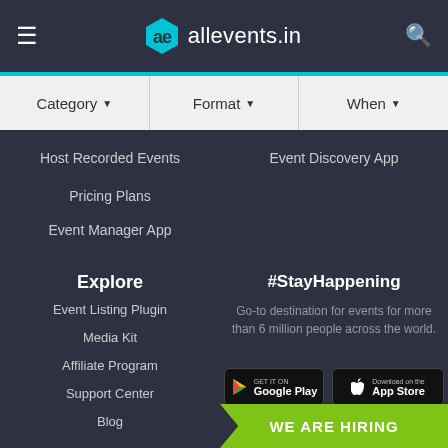allevents.in
Category ▼
Format ▼
When ▼
Host Recorded Events
Event Discovery App
Pricing Plans
Event Manager App
Explore
Event Listing Plugin
Media Kit
Affiliate Program
Support Center
Blog
#StayHappening
Go-to destination for events for more than 6 million people across the world.
[Figure (logo): Google Play store badge]
[Figure (logo): Apple App Store badge]
WE ARE HIRING